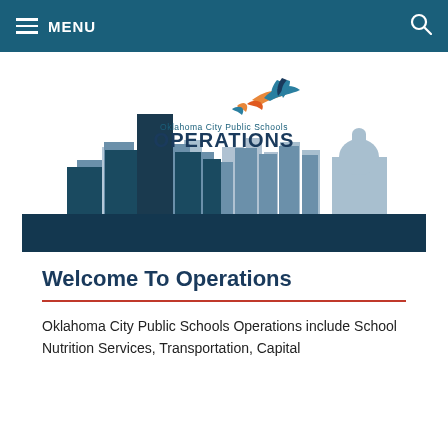MENU
[Figure (illustration): Oklahoma City Public Schools Operations banner with city skyline silhouette and bird logo. Text reads: Oklahoma City Public Schools OPERATIONS]
Welcome To Operations
Oklahoma City Public Schools Operations include School Nutrition Services, Transportation, Capital